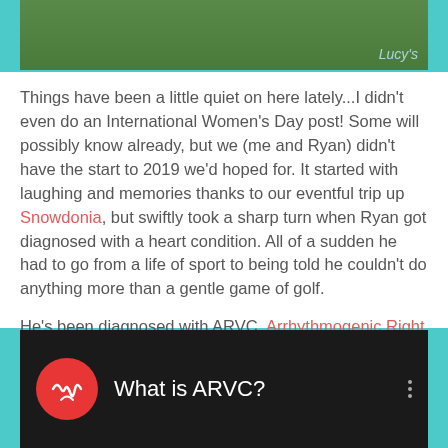[Figure (photo): Outdoor grass scene with Easter eggs. Text 'Lucy's' visible in bottom right corner in light blue handwritten style.]
Things have been a little quiet on here lately...I didn't even do an International Women's Day post! Some will possibly know already, but we (me and Ryan) didn't have the start to 2019 we'd hoped for. It started with laughing and memories thanks to our eventful trip up Snowdonia, but swiftly took a sharp turn when Ryan got diagnosed with a heart condition. All of a sudden he had to go from a life of sport to being told he couldn't do anything more than a gentle game of golf.
He's been diagnosed with ARVC, Arrhythmogenic Right Ventricular Cardiomyopathy.
[Figure (screenshot): Video thumbnail with dark background, red circular ARVC heart logo icon on left, text 'What is ARVC?' in white, and three-dot menu icon on right.]